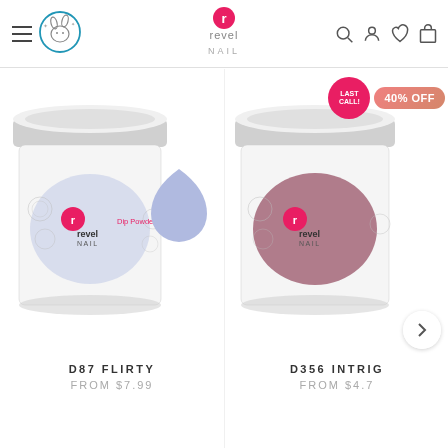[Figure (screenshot): Revel Nail e-commerce website header with hamburger menu, leaping bunny logo, Revel Nail brand logo center, and icons for search, account, wishlist, and shopping bag on the right]
[Figure (photo): Revel Nail Dip Powder product D87 Flirty - a white-capped jar with light periwinkle/lavender powder visible, with a teardrop-shaped color swatch in light blue/periwinkle beside it]
D87 FLIRTY
FROM $7.99
[Figure (photo): Revel Nail Dip Powder product D356 Intrig (truncated) with a LAST CALL! badge and 40% OFF badge. Jar has white cap and dark mauve/burgundy powder visible. Carousel next arrow partially visible.]
D356 INTRIG
FROM $4.7